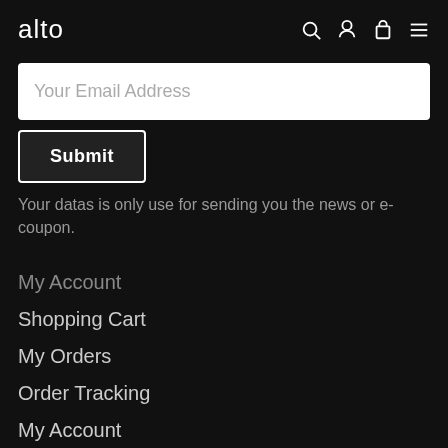alto
Your Email Address
Submit
Your datas is only use for sending you the news or e-coupon.
My Account
Shopping Cart
My Orders
Order Tracking
My Account